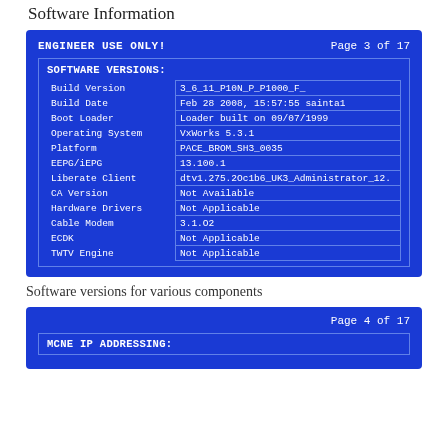Software Information
[Figure (screenshot): Blue engineer-use-only screen showing SOFTWARE VERSIONS table with fields: Build Version (3_6_11_P10N_P_P1000_F_), Build Date (Feb 28 2008, 15:57:55 sainta1), Boot Loader (Loader built on 09/07/1999), Operating System (VxWorks 5.3.1), Platform (PACE_BROM_SH3_0035), EEPG/iEPG (13.100.1), Liberate Client (dtv1.275.2Oc1b6_UK3_Administrator_12.), CA Version (Not Available), Hardware Drivers (Not Applicable), Cable Modem (3.1.O2), ECDK (Not Applicable), TWTV Engine (Not Applicable). Page 3 of 17.]
Software versions for various components
[Figure (screenshot): Blue engineer-use-only screen showing Page 4 of 17 with MCNE IP ADDRESSING section partially visible.]